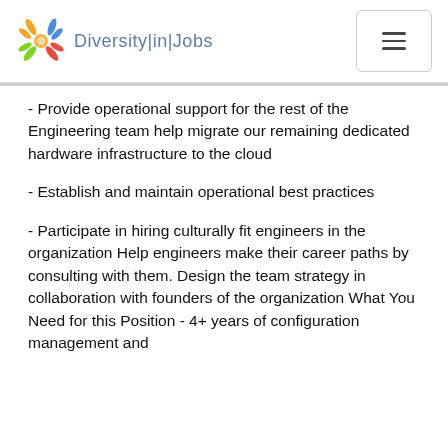Diversity|in|Jobs
- Provide operational support for the rest of the Engineering team help migrate our remaining dedicated hardware infrastructure to the cloud
- Establish and maintain operational best practices
- Participate in hiring culturally fit engineers in the organization Help engineers make their career paths by consulting with them. Design the team strategy in collaboration with founders of the organization What You Need for this Position - 4+ years of configuration management and